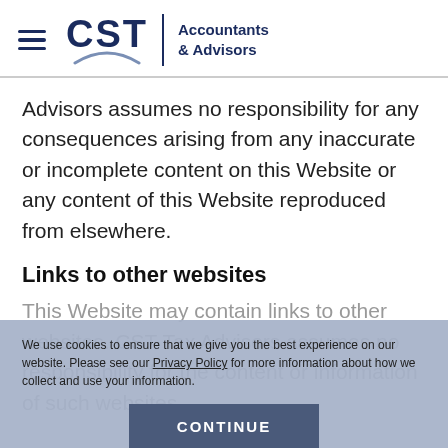CST Accountants & Advisors
Advisors assumes no responsibility for any consequences arising from any inaccurate or incomplete content on this Website or any content of this Website reproduced from elsewhere.
Links to other websites
This Website may contain links to other websites. CST Tax Advisors assumes no responsibility for the content or information of such websites.
We use cookies to ensure that we give you the best experience on our website. Please see our Privacy Policy for more information about how we collect and use your information.
CONTINUE
Copyrights and trademarks